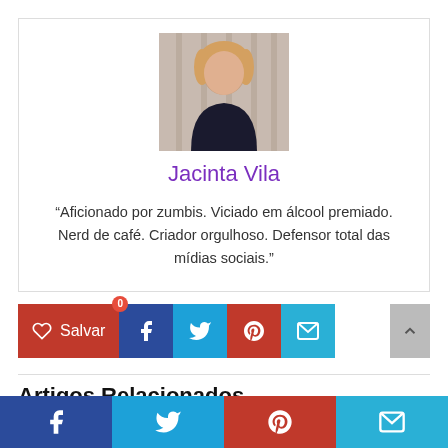[Figure (photo): Portrait photo of Jacinta Vila, a woman with blonde hair wearing a black top against a light curtained background]
Jacinta Vila
“Aficionado por zumbis. Viciado em álcool premiado. Nerd de café. Criador orgulhoso. Defensor total das mídias sociais.”
[Figure (infographic): Social sharing buttons row: heart Salvar button (red, count 0), Facebook (dark blue), Twitter (light blue), Pinterest (red), Email (light blue), and scroll-to-top arrow button]
Artigos Relacionados
[Figure (infographic): Bottom social sharing bar with Facebook, Twitter, Pinterest, and Email icons]